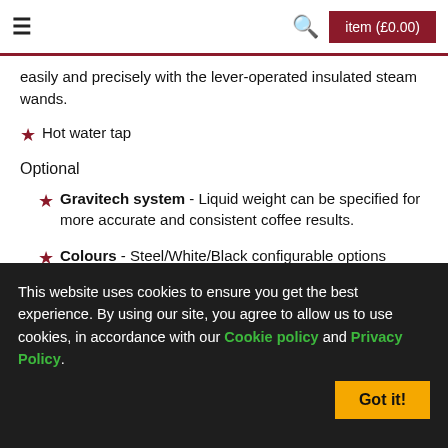item (£0.00)
easily and precisely with the lever-operated insulated steam wands.
Hot water tap
Optional
Gravitech system - Liquid weight can be specified for more accurate and consistent coffee results.
Colours - Steel/White/Black configurable options available to suit your brand identity or establishment interior design.
This website uses cookies to ensure you get the best experience. By using our site, you agree to allow us to use cookies, in accordance with our Cookie policy and Privacy Policy.